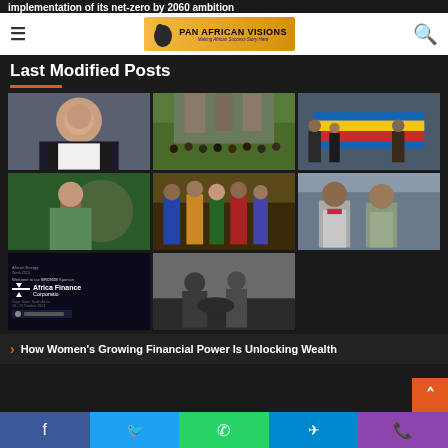implementation of its net-zero by 2060 ambition
[Figure (logo): Pan African Visions logo with orange/gold Africa continent icon and tagline 'Making Africa Success Story Here']
Last Modified Posts
[Figure (photo): Portrait photo of a smiling African woman with glasses wearing a white blazer over black]
[Figure (photo): Group photo of many people gathered outdoors in front of a historic stone building]
[Figure (photo): People holding a colorful flag with blue, yellow, and red stripes at an outdoor event]
[Figure (photo): A speaker at a podium with an official seal, wearing blue clothing]
[Figure (photo): People in traditional African clothing at what appears to a market or gathering]
[Figure (photo): Two men in suits, one appearing to whisper to the other]
[Figure (infographic): Africa Energy Week banner welcoming Bronze Sponsor Africa Finance Corporation, Cape Town South Africa, 16-21 October 2023]
[Figure (photo): Black and white historical photo of people in a rural or outdoor setting]
How Women's Growing Financial Power Is Unlocking Wealth